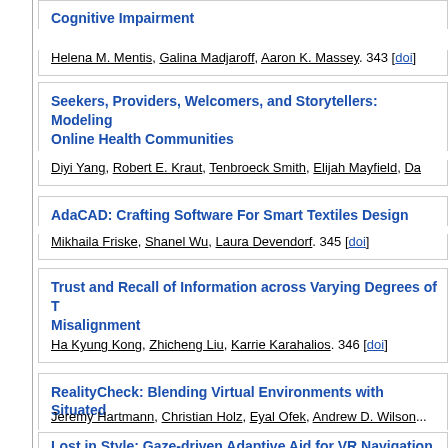Cognitive Impairment
Helena M. Mentis, Galina Madjaroff, Aaron K. Massey. 343 [doi]
Seekers, Providers, Welcomers, and Storytellers: Modeling Online Health Communities
Diyi Yang, Robert E. Kraut, Tenbroeck Smith, Elijah Mayfield, Da...
AdaCAD: Crafting Software For Smart Textiles Design
Mikhaila Friske, Shanel Wu, Laura Devendorf. 345 [doi]
Trust and Recall of Information across Varying Degrees of T... Misalignment
Ha Kyung Kong, Zhicheng Liu, Karrie Karahalios. 346 [doi]
RealityCheck: Blending Virtual Environments with Situated...
Jeremy Hartmann, Christian Holz, Eyal Ofek, Andrew D. Wilson...
Lost in Style: Gaze-driven Adaptive Aid for VR Navigation